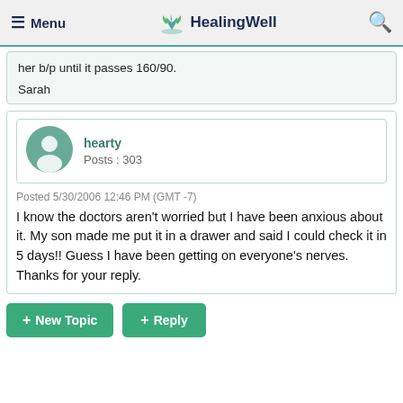≡ Menu  HealingWell  🔍
her b/p until it passes 160/90.
Sarah
[Figure (other): User avatar: circular green icon with silhouette of a person]
hearty
Posts : 303
Posted 5/30/2006 12:46 PM (GMT -7)
I know the doctors aren't worried but I have been anxious about it. My son made me put it in a drawer and said I could check it in 5 days!! Guess I have been getting on everyone's nerves. Thanks for your reply.
+ New Topic  + Reply